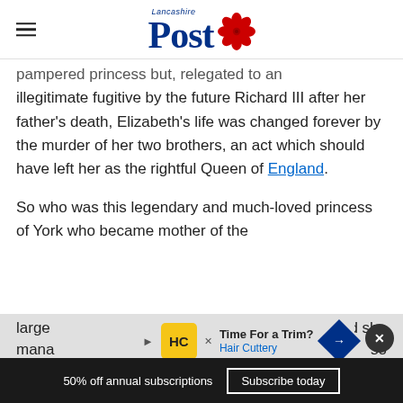Lancashire Post
pampered princess but, relegated to an illegitimate fugitive by the future Richard III after her father's death, Elizabeth's life was changed forever by the murder of her two brothers, an act which should have left her as the rightful Queen of England.
So who was this legendary and much-loved princess of York who became mother of the largest... and she managed... so
Time For a Trim? Hair Cuttery
50% off annual subscriptions  Subscribe today